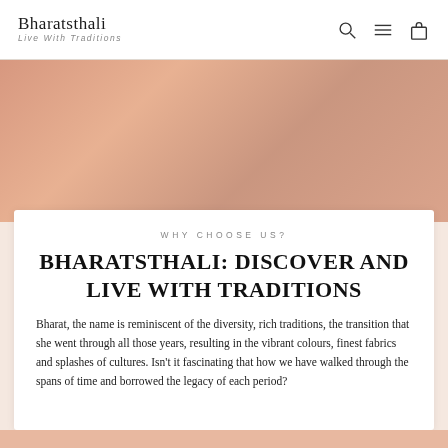Bharatsthali · Live With Traditions
[Figure (photo): Hero banner image showing traditional Indian textiles and decorative elements in warm peach/terracotta tones]
WHY CHOOSE US?
BHARATSTHALI: DISCOVER AND LIVE WITH TRADITIONS
Bharat, the name is reminiscent of the diversity, rich traditions, the transition that she went through all those years, resulting in the vibrant colours, finest fabrics and splashes of cultures. Isn't it fascinating that how we have walked through the spans of time and borrowed the legacy of each period?